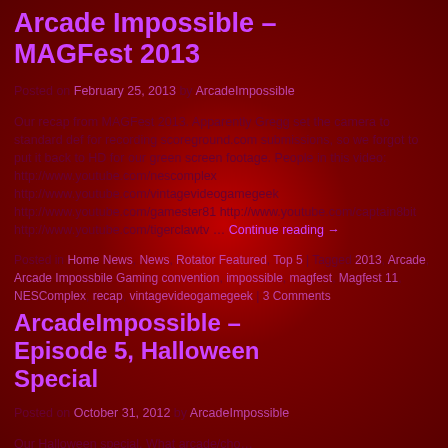Arcade Impossible – MAGFest 2013
Posted on February 25, 2013 by ArcadeImpossible
Our recap from MAGFest 2013. Apparently Gregg set the camera to standard def for recording scoreground.com submissions, so we forgot to put it back to HD for our green screen footage. People in this video: http://www.youtube.com/nescomplex http://www.youtube.com/vintagevideogamegeek http://www.youtube.com/gamester81 http://www.youtube.com/captain8bit http://www.youtube.com/tigerclawtv … Continue reading →
Posted in Home News, News, Rotator Featured, Top 5 | Tagged 2013, Arcade, Arcade Impossbile Gaming convention, impossible, magfest, Magfest 11, NESComplex, recap, vintagevideogamegeek | 3 Comments
ArcadeImpossible – Episode 5, Halloween Special
Posted on October 31, 2012 by ArcadeImpossible
Our Halloween special. What arcade/cho...